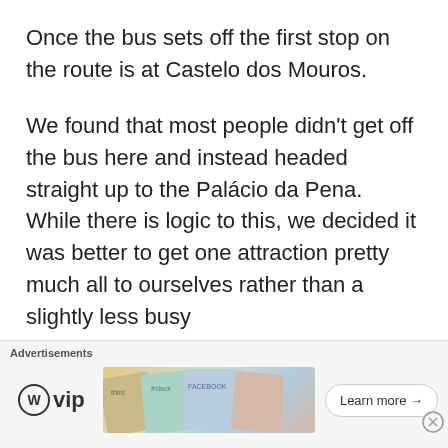Once the bus sets off the first stop on the route is at Castelo dos Mouros.
We found that most people didn't get off the bus here and instead headed straight up to the Palácio da Pena. While there is logic to this, we decided it was better to get one attraction pretty much all to ourselves rather than a slightly less busy
Advertisements